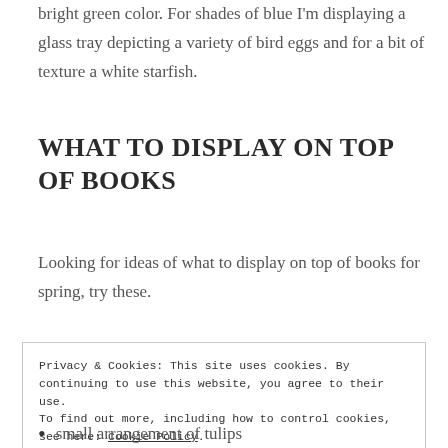bright green color. For shades of blue I'm displaying a glass tray depicting a variety of bird eggs and for a bit of texture a white starfish.
WHAT TO DISPLAY ON TOP OF BOOKS
Looking for ideas of what to display on top of books for spring, try these.
Privacy & Cookies: This site uses cookies. By continuing to use this website, you agree to their use.
To find out more, including how to control cookies, see here: Cookie Policy
small arrangement of tulips